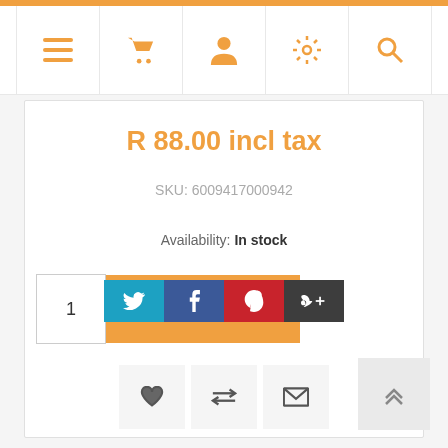Navigation bar with menu, cart, account, settings, search icons
R 88.00 incl tax
SKU: 6009417000942
Availability: In stock
1  ADD TO CART
[Figure (infographic): Action icon buttons: heart (wishlist), compare arrows, envelope (email)]
[Figure (infographic): Social share buttons: Twitter (blue), Facebook (dark blue), Pinterest (red), Google+ (dark grey)]